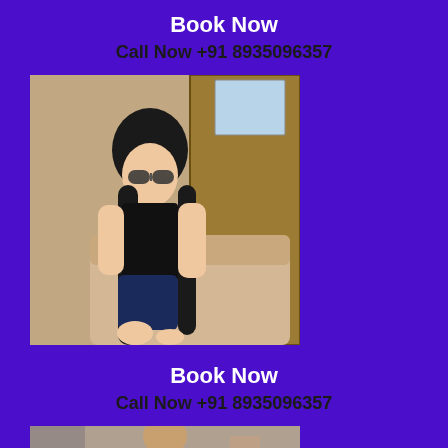Book Now
Call Now +91 8935096357
[Figure (photo): A young woman with long dark hair and sunglasses sitting on a wicker chair/sofa]
Book Now
Call Now +91 8935096357
[Figure (photo): Partial view of another person, cropped at bottom of page]